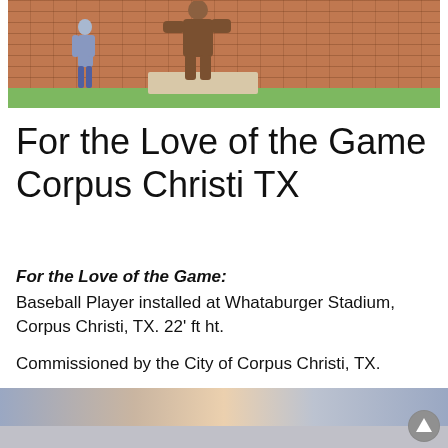[Figure (photo): Outdoor photo showing a large bronze baseball player sculpture installed at Whataburger Stadium in Corpus Christi, TX. The sculpture stands on a brick pedestal in front of a brick building. A person stands nearby for scale. Green grass is visible at the bottom.]
For the Love of the Game Corpus Christi TX
For the Love of the Game: Baseball Player installed at Whataburger Stadium, Corpus Christi, TX. 22' ft ht.
Commissioned by the City of Corpus Christi, TX.
[Figure (photo): Partial view of a landscape/sunset photo at the bottom of the page serving as a footer image strip.]